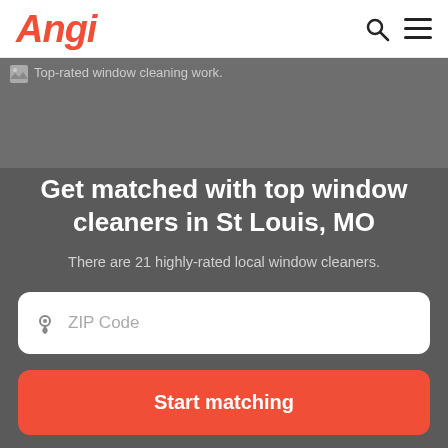Angi
[Figure (photo): Top-rated window cleaning work. Background image placeholder.]
Get matched with top window cleaners in St Louis, MO
There are 21 highly-rated local window cleaners.
ZIP Code (input field)
Start matching